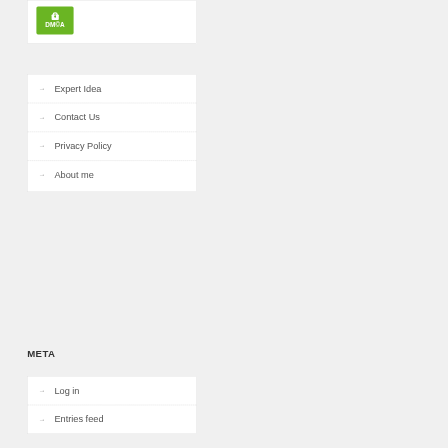[Figure (logo): DMCA protection badge: green square with lock icon and DMCA text]
→ Expert Idea
→ Contact Us
→ Privacy Policy
→ About me
META
→ Log in
→ Entries feed